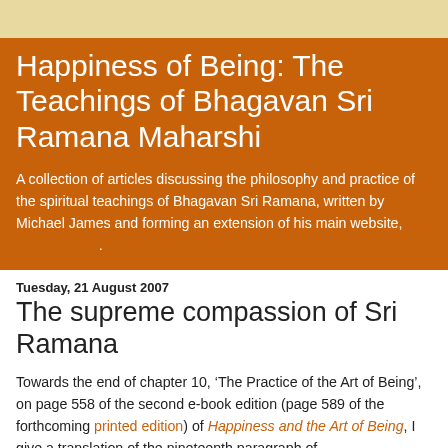Happiness of Being: The Teachings of Bhagavan Sri Ramana Maharshi
A collection of articles discussing the philosophy and practice of the spiritual teachings of Bhagavan Sri Ramana, written by Michael James and forming an extension of his main website, .
Tuesday, 21 August 2007
The supreme compassion of Sri Ramana
Towards the end of chapter 10, ‘The Practice of the Art of Being’, on page 558 of the second e-book edition (page 589 of the forthcoming printed edition) of Happiness and the Art of Being, I give a translation of the nineteenth paragraph of